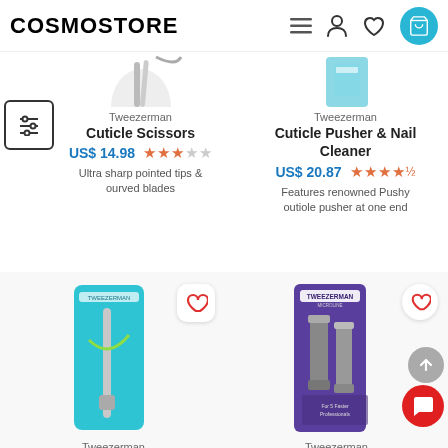COSMOSTORE
[Figure (screenshot): Partial product image of Tweezerman Cuticle Scissors (top, cropped)]
Tweezerman
Cuticle Scissors
US$ 14.98
[Figure (other): 3-star rating (3 out of 5 stars)]
Ultra sharp pointed tips & ourved blades
[Figure (screenshot): Partial product image of Tweezerman Cuticle Pusher & Nail Cleaner (top, cropped)]
Tweezerman
Cuticle Pusher & Nail Cleaner
US$ 20.87
[Figure (other): 4.5-star rating (4 and a half out of 5 stars)]
Features renowned Pushy outiole pusher at one end
[Figure (photo): Tweezerman product on teal/aqua packaging - cuticle pusher tool]
[Figure (photo): Tweezerman product on purple packaging - nail clippers set]
Tweezerman
Tweezerman